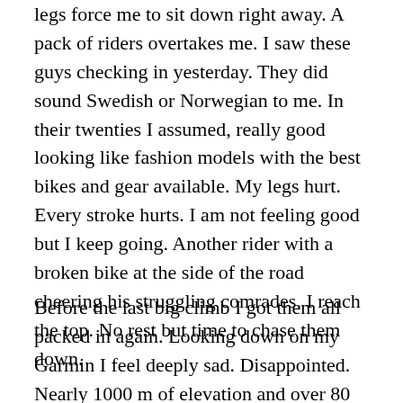legs force me to sit down right away. A pack of riders overtakes me. I saw these guys checking in yesterday. They did sound Swedish or Norwegian to me. In their twenties I assumed, really good looking like fashion models with the best bikes and gear available. My legs hurt. Every stroke hurts. I am not feeling good but I keep going. Another rider with a broken bike at the side of the road cheering his struggling comrades. I reach the top. No rest but time to chase them down.
Before the last big climb I got them all packed in again. Looking down on my Garmin I feel deeply sad. Disappointed. Nearly 1000 m of elevation and over 80 km distance on my display. That's it? In regret I realize that I am